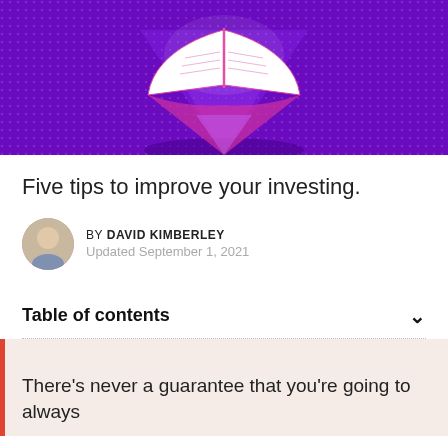[Figure (illustration): Hero illustration showing a glowing open book floating with purple background and pink/magenta accents, rays of light emanating from below the book]
Five tips to improve your investing.
BY DAVID KIMBERLEY
Updated September 1, 2021
Table of contents
There's never a guarantee that you're going to always